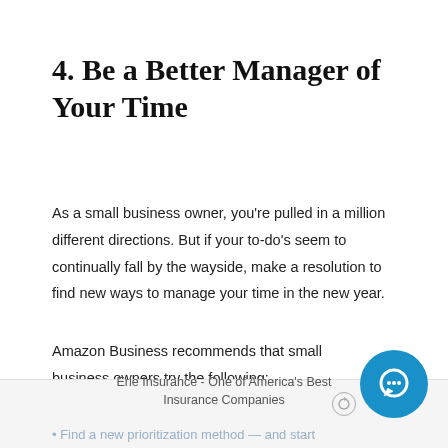4. Be a Better Manager of Your Time
As a small business owner, you're pulled in a million different directions. But if your to-do's seem to continually fall by the wayside, make a resolution to find new ways to manage your time in the new year.
Amazon Business recommends that small business owners try the following:
Erie Insurance - One of America's Best Insurance Companies
Find a new prioritization method — and start